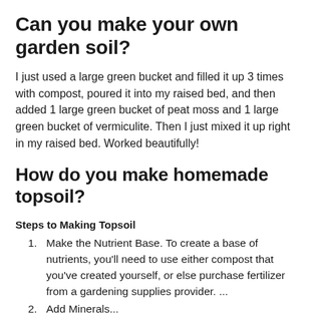Can you make your own garden soil?
I just used a large green bucket and filled it up 3 times with compost, poured it into my raised bed, and then added 1 large green bucket of peat moss and 1 large green bucket of vermiculite. Then I just mixed it up right in my raised bed. Worked beautifully!
How do you make homemade topsoil?
Steps to Making Topsoil
Make the Nutrient Base. To create a base of nutrients, you'll need to use either compost that you've created yourself, or else purchase fertilizer from a gardening supplies provider. ...
Add Minerals...